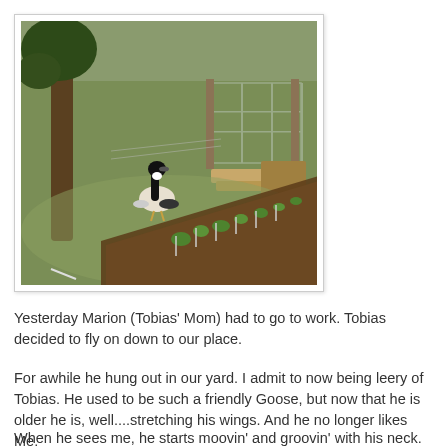[Figure (photo): Outdoor yard scene showing a Canada goose standing on grass near a tree, with a garden bed in the foreground containing small plants, and a wire fence structure in the background.]
Yesterday Marion (Tobias' Mom) had to go to work. Tobias decided to fly on down to our place.
For awhile he hung out in our yard. I admit to now being leery of Tobias. He used to be such a friendly Goose, but now that he is older he is, well....stretching his wings. And he no longer likes Me.
When he sees me, he starts moovin' and groovin' with his neck. When I see him doing that, I know it is time for me to